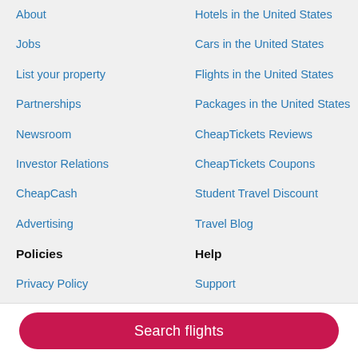About
Hotels in the United States
Jobs
Cars in the United States
List your property
Flights in the United States
Partnerships
Packages in the United States
Newsroom
CheapTickets Reviews
Investor Relations
CheapTickets Coupons
CheapCash
Student Travel Discount
Advertising
Travel Blog
Policies
Help
Privacy Policy
Support
Terms of Use
Cancel your hotel or vacation rental booking
Vrbo terms and conditions
Search flights